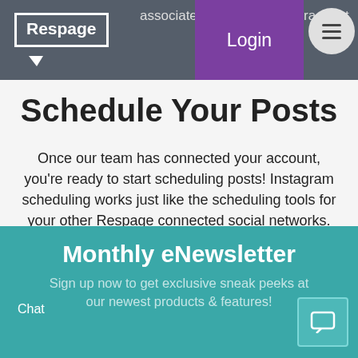associated with your Instagram set
Schedule Your Posts
Once our team has connected your account, you’re ready to start scheduling posts! Instagram scheduling works just like the scheduling tools for your other Respage connected social networks. Simply upload an image to the system and add description text if you want a caption. Click Add To Queue and you’re done!
Monthly eNewsletter
Sign up now to get exclusive sneak peeks at our newest products & features!